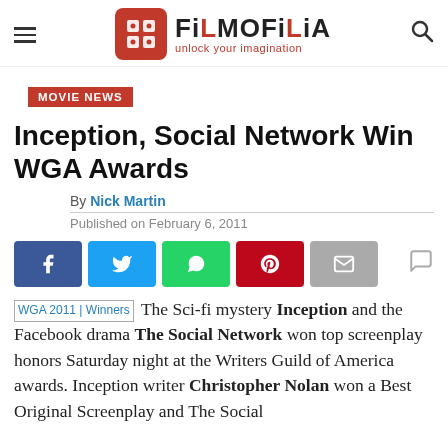[Figure (logo): Filmofilia logo with red icon containing 'f', site name 'FiLMOFiLiA' and tagline 'unlock your imagination', hamburger menu icon on left, search icon on right]
MOVIE NEWS
Inception, Social Network Win WGA Awards
By Nick Martin
Published on February 6, 2011
[Figure (infographic): Social sharing buttons: Facebook (blue), Twitter (light blue), WhatsApp (green), Pinterest (red), Email (grey), and comment icon]
WGA 2011 | Winners The Sci-fi mystery Inception and the Facebook drama The Social Network won top screenplay honors Saturday night at the Writers Guild of America awards. Inception writer Christopher Nolan won a Best Original Screenplay and The Social